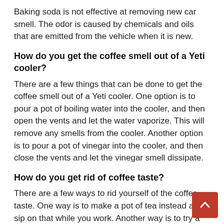Baking soda is not effective at removing new car smell. The odor is caused by chemicals and oils that are emitted from the vehicle when it is new.
How do you get the coffee smell out of a Yeti cooler?
There are a few things that can be done to get the coffee smell out of a Yeti cooler. One option is to pour a pot of boiling water into the cooler, and then open the vents and let the water vaporize. This will remove any smells from the cooler. Another option is to pour a pot of vinegar into the cooler, and then close the vents and let the vinegar smell dissipate.
How do you get rid of coffee taste?
There are a few ways to rid yourself of the coffee taste. One way is to make a pot of tea instead and sip on that while you work. Another way is to try a different type of coffee. For example, if you're a fan